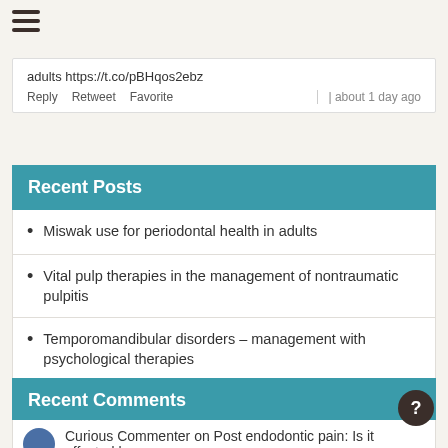[Figure (other): Hamburger menu icon with three horizontal lines]
adults https://t.co/pBHqos2ebz
Reply  Retweet  Favorite  | about 1 day ago
Recent Posts
Miswak use for periodontal health in adults
Vital pulp therapies in the management of nontraumatic pulpitis
Temporomandibular disorders – management with psychological therapies
Adult dental anxiety – management strategies
Chronic ulcerative stomatitis: Clinical and immunological features
Recent Comments
Curious Commenter on Post endodontic pain: Is it affected by
[Figure (other): Circular floating help button with question mark]